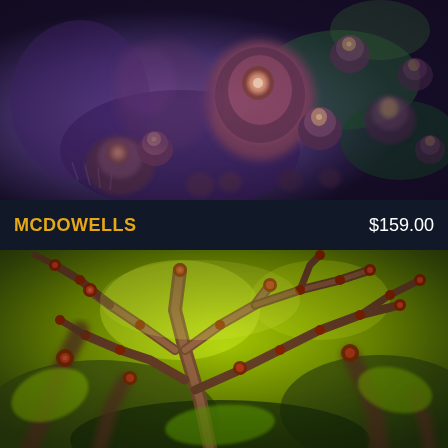[Figure (photo): Close-up macro photograph of coral polyps with pink/mauve coloring against a purple-blue background, showing bubble-tip or mushroom coral polyps with round tips.]
MCDOWELLS    $159.00
[Figure (photo): Close-up macro photograph of branching coral (likely Acropora) with vivid yellow-green coloration and reddish-brown polyp tips, showing complex branching structure.]